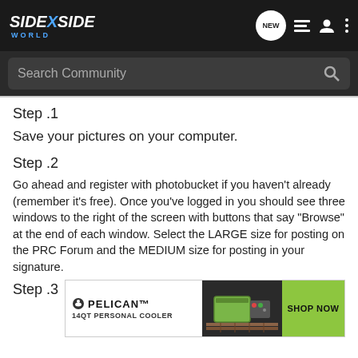[Figure (screenshot): SideXSide World website navigation bar with logo, NEW button, list icon, user icon, and dots menu icon]
[Figure (screenshot): Search Community search bar on dark background]
Step .1
Save your pictures on your computer.
Step .2
Go ahead and register with photobucket if you haven't already (remember it's free). Once you've logged in you should see three windows to the right of the screen with buttons that say "Browse" at the end of each window. Select the LARGE size for posting on the PRC Forum and the MEDIUM size for posting in your signature.
Step .3
[Figure (illustration): Pelican 14QT Personal Cooler advertisement banner with SHOP NOW button]